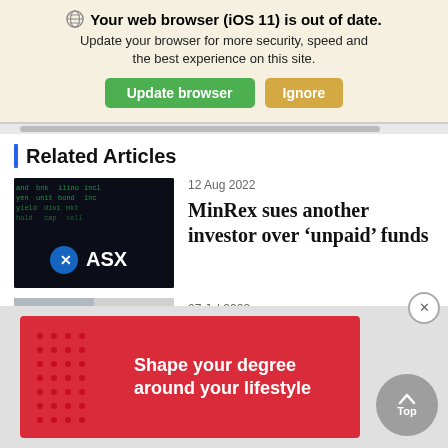Your web browser (iOS 11) is out of date. Update your browser for more security, speed and the best experience on this site. [Update browser] [Ignore]
Related Articles
12 Aug 2022
MinRex sues another investor over ‘unpaid’ funds
[Figure (screenshot): ASX logo on dark background with green ticker text]
[Figure (photo): Partially visible thumbnail for a second article]
[Figure (infographic): Red advertisement banner: Shape your degree around your lifestyle, with dot pattern on the left]